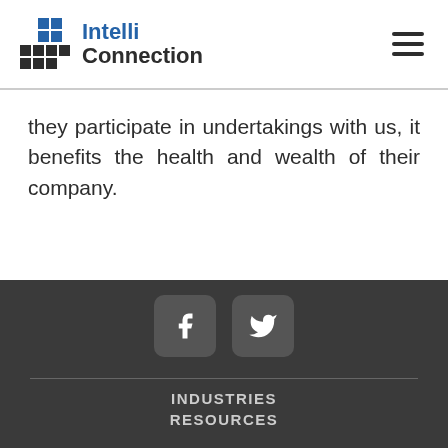[Figure (logo): IntelliConnection logo with grid of blue/dark squares and company name]
they participate in undertakings with us, it benefits the health and wealth of their company.
[Figure (infographic): Facebook and Twitter social media icon buttons on dark background]
INDUSTRIES
RESOURCES